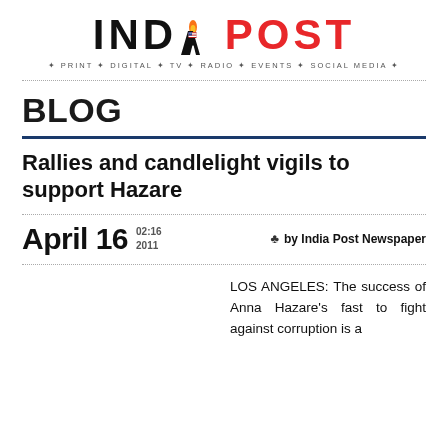[Figure (logo): India Post newspaper logo with flame icon and US flag in letter A, tagline: PRINT + DIGITAL + TV + RADIO + EVENTS + SOCIAL MEDIA]
BLOG
Rallies and candlelight vigils to support Hazare
April 16  02:16 2011   by India Post Newspaper
LOS ANGELES: The success of Anna Hazare's fast to fight against corruption is a